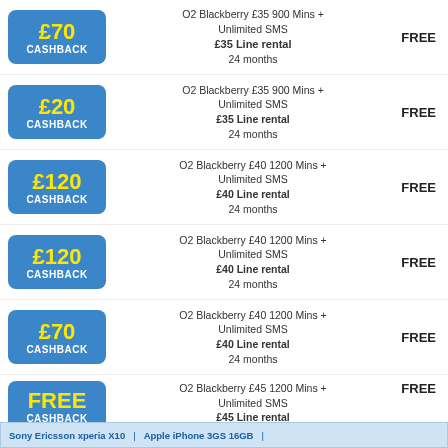£70 CASHBACK | O2 Blackberry £35 900 Mins + Unlimited SMS £35 Line rental 24 months | FREE
£20 CASHBACK | O2 Blackberry £35 900 Mins + Unlimited SMS £35 Line rental 24 months | FREE
£120 CASHBACK | O2 Blackberry £40 1200 Mins + Unlimited SMS £40 Line rental 24 months | FREE
£120 CASHBACK | O2 Blackberry £40 1200 Mins + Unlimited SMS £40 Line rental 24 months | FREE
£70 CASHBACK | O2 Blackberry £40 1200 Mins + Unlimited SMS £40 Line rental 24 months | FREE
FREE CASHBACK | O2 Blackberry £45 1200 Mins + Unlimited SMS £45 Line rental | FREE
Sony Ericsson xperia X10 | Apple iPhone 3GS 16GB |